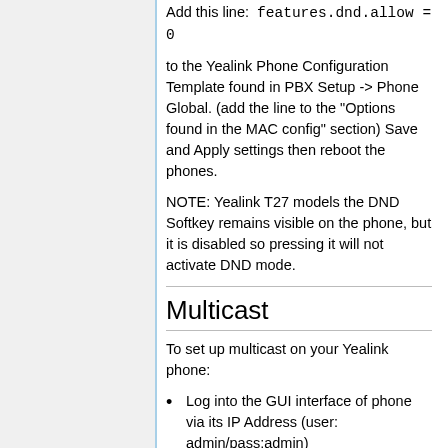Add this line:  features.dnd.allow = 0
to the Yealink Phone Configuration Template found in PBX Setup -> Phone Global. (add the line to the "Options found in the MAC config" section) Save and Apply settings then reboot the phones.
NOTE: Yealink T27 models the DND Softkey remains visible on the phone, but it is disabled so pressing it will not activate DND mode.
Multicast
To set up multicast on your Yealink phone:
Log into the GUI interface of phone via its IP Address (user: admin/pass:admin)
Navigate to Contacts-> MulticastIP...